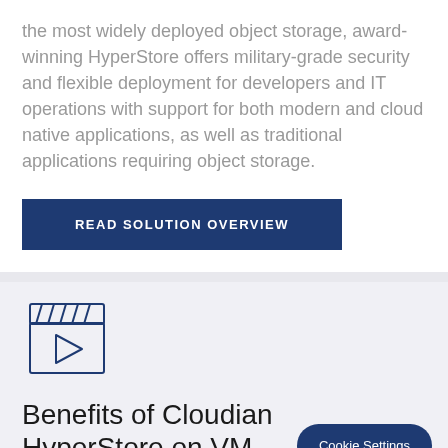the most widely deployed object storage, award-winning HyperStore offers military-grade security and flexible deployment for developers and IT operations with support for both modern and cloud native applications, as well as traditional applications requiring object storage.
READ SOLUTION OVERVIEW
[Figure (illustration): Clapperboard / video icon in dark blue outline style]
Benefits of Cloudian HyperStore on VM...
Cookie Settings